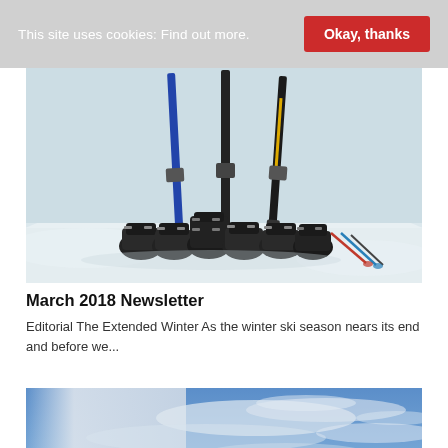This site uses cookies: Find out more.   Okay, thanks
[Figure (photo): Ski boots and skis standing upright in snow — several pairs of black ski boots arranged in front of three pairs of skis stuck vertically in snow, with ski poles visible on the right side.]
March 2018 Newsletter
Editorial The Extended Winter As the winter ski season nears its end and before we...
[Figure (photo): Blue sky with light wispy clouds — partial view of a mountain or outdoor scene against a blue sky with white clouds.]